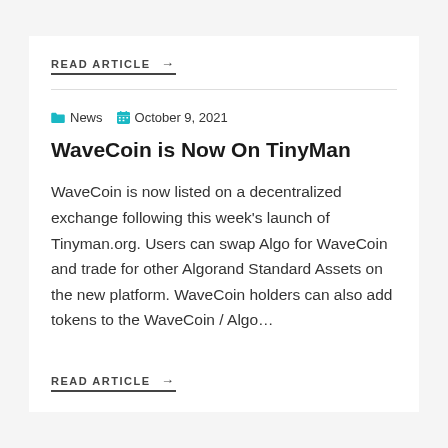READ ARTICLE →
News  October 9, 2021
WaveCoin is Now On TinyMan
WaveCoin is now listed on a decentralized exchange following this week's launch of Tinyman.org. Users can swap Algo for WaveCoin and trade for other Algorand Standard Assets on the new platform. WaveCoin holders can also add tokens to the WaveCoin / Algo…
READ ARTICLE →